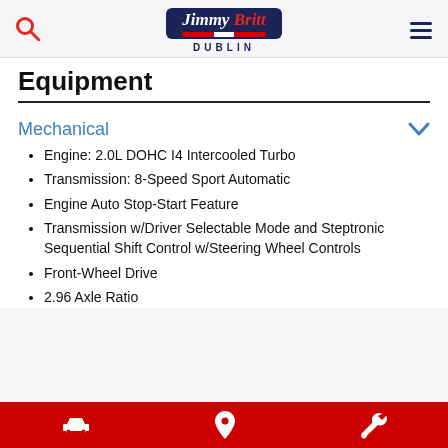Jimmy Britt Dublin
Equipment
Mechanical
Engine: 2.0L DOHC I4 Intercooled Turbo
Transmission: 8-Speed Sport Automatic
Engine Auto Stop-Start Feature
Transmission w/Driver Selectable Mode and Steptronic Sequential Shift Control w/Steering Wheel Controls
Front-Wheel Drive
2.96 Axle Ratio
Car icon, Location icon, Wrench icon